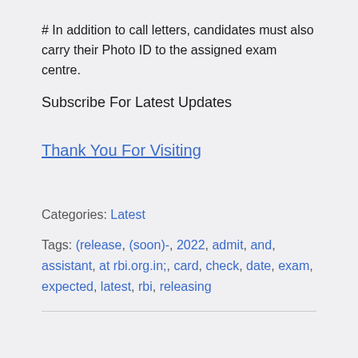# In addition to call letters, candidates must also carry their Photo ID to the assigned exam centre.
Subscribe For Latest Updates
Thank You For Visiting
Categories: Latest
Tags: (release, (soon)-, 2022, admit, and, assistant, at rbi.org.in;, card, check, date, exam, expected, latest, rbi, releasing